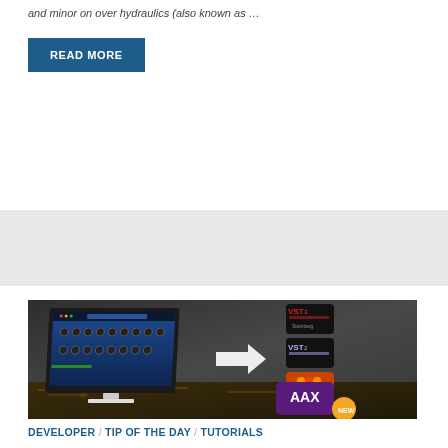and minor on over hydraulics (also known as …
READ MORE
[Figure (screenshot): Screenshot of a VST plugin UI on a computer monitor with format icons (VST3, VST2, Audio Units, AAX NEW) shown to the right with an arrow, on a dark circuit-board background.]
DEVELOPER / TIP OF THE DAY / TUTORIALS